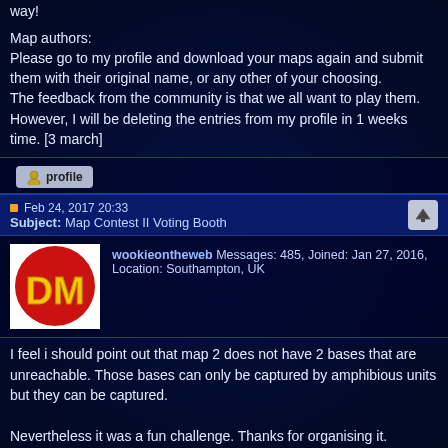way!
Map authors:
Please go to my profile and download your maps again and submit them with their original name, or any other of your choosing.
The feedback from the community is that we all want to play them. However, I will be deleting the entries from my profile in 1 weeks time. [3 march]
[Figure (other): Profile button with user icon]
Feb 24, 2017 20:33
Subject: Map Contest II Voting Booth
[Figure (other): DM logo avatar - yellow DM text on red circle]
wookieontheweb Messages: 485, Joined: Jan 27, 2016, Location: Southampton, UK
I feel i should point out that map 2 does not have 2 bases that are unreachable. Those bases can only be captured by amphibious units but they can be captured.

Nevertheless it was a fun challenge. Thanks for organising it.
Android 9. Samsung Galaxy A50
[Figure (other): Profile button with user icon]
Feb 24, 2017 20:49
Subject: Re:Map Contest II Voting Booth